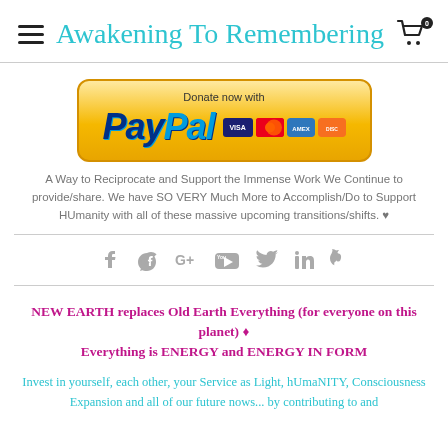Awakening To Remembering
[Figure (other): PayPal donation button with credit card logos (Visa, MasterCard, Amex, Discover)]
A Way to Reciprocate and Support the Immense Work We Continue to provide/share. We have SO VERY Much More to Accomplish/Do to Support HUmanity with all of these massive upcoming transitions/shifts. ♥
[Figure (infographic): Social media icons: Facebook, Google+, YouTube, Twitter, LinkedIn, Pinterest]
NEW EARTH replaces Old Earth Everything (for everyone on this planet) ♦ Everything is ENERGY and ENERGY IN FORM
Invest in yourself, each other, your Service as Light, hUmaNITY, Consciousness Expansion and all of our future nows... by contributing to and